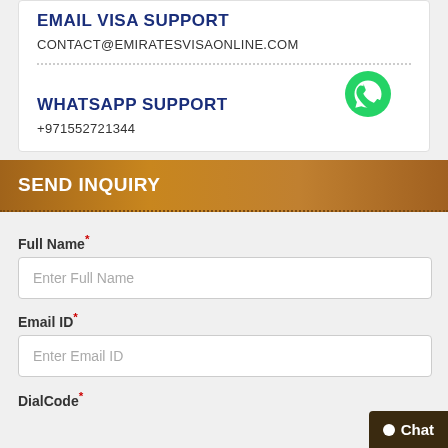EMAIL VISA SUPPORT
CONTACT@EMIRATESVISAONLINE.COM
[Figure (illustration): WhatsApp green circle icon with phone handset]
WHATSAPP SUPPORT
+971552721344
SEND INQUIRY
Full Name*
Enter Full Name
Email ID*
Enter Email ID
DialCode*
Chat